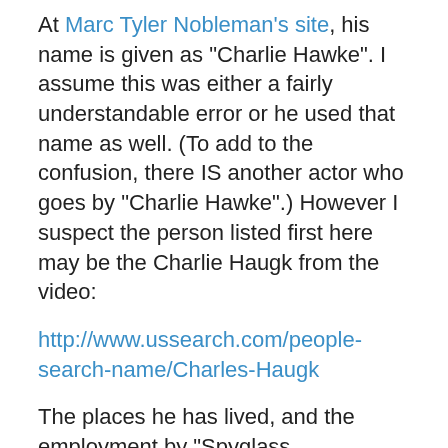At Marc Tyler Nobleman’s site, his name is given as “Charlie Hawke”. I assume this was either a fairly understandable error or he used that name as well. (To add to the confusion, there IS another actor who goes by “Charlie Hawke”.) However I suspect the person listed first here may be the Charlie Haugk from the video:
http://www.ussearch.com/people-search-name/Charles-Haugk
The places he has lived, and the employment by “Spyglass Entertainment”, increase the likelihood. His age is given as 61, which is consistent with his year of birth being 1953.
This Malibu record is consistent:
http://www.intelius.com/people/Charles-